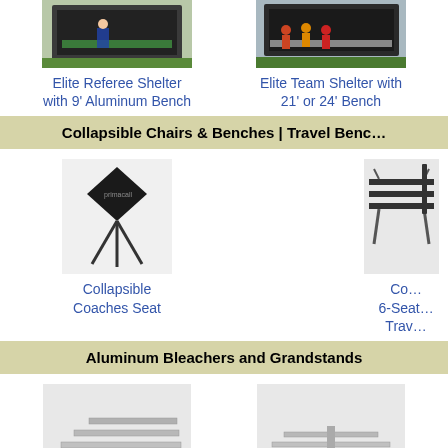[Figure (photo): Elite Referee Shelter with 9' Aluminum Bench product photo]
Elite Referee Shelter with 9' Aluminum Bench
[Figure (photo): Elite Team Shelter with 21' or 24' Bench product photo]
Elite Team Shelter with 21' or 24' Bench
Collapsible Chairs & Benches | Travel Benc…
[Figure (photo): Collapsible Coaches Seat product photo]
Collapsible Coaches Seat
[Figure (photo): Collapsible 6-Seat Travel Bench product photo (partially visible)]
Co… 6-Seat… Trav…
Aluminum Bleachers and Grandstands
[Figure (photo): 3, 4 & 5 Row Standard Bleacher product photo]
3, 4 & 5 Row Standard Bleach…
[Figure (photo): 3 and 4 Row Back-to-back bleacher product photo]
3 and 4 Row Back-to-back…